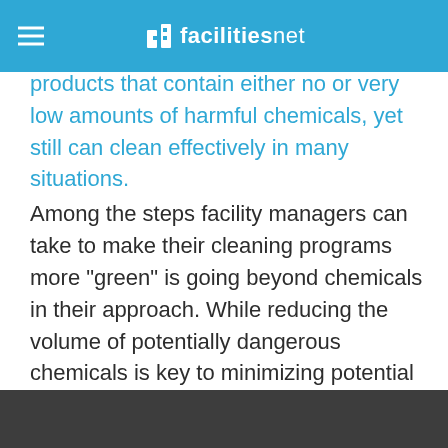facilitiesnet
has been to move to less harmful products, it's now possible to find products that contain either no or very low amounts of harmful chemicals, yet still can clean effectively in many situations.
Among the steps facility managers can take to make their cleaning programs more "green" is going beyond chemicals in their approach. While reducing the volume of potentially dangerous chemicals is key to minimizing potential harm to the environment, a truly green program goes further. For instance, changing the types of products in use also can